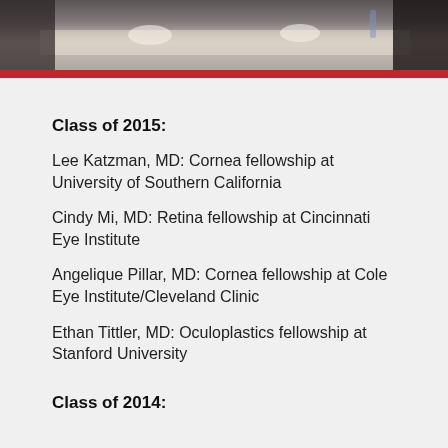[Figure (photo): Photo showing people seated at a dinner table with plates, glasses, and food visible]
Class of 2015:
Lee Katzman, MD: Cornea fellowship at University of Southern California
Cindy Mi, MD: Retina fellowship at Cincinnati Eye Institute
Angelique Pillar, MD: Cornea fellowship at Cole Eye Institute/Cleveland Clinic
Ethan Tittler, MD: Oculoplastics fellowship at Stanford University
Class of 2014: